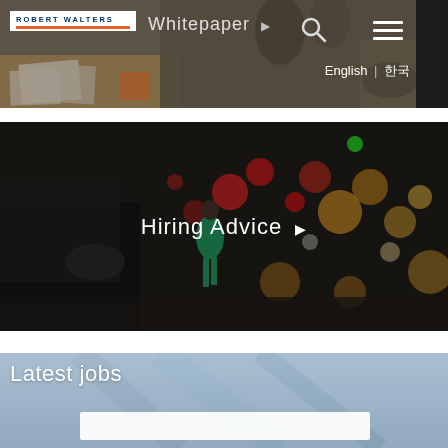[Figure (screenshot): Robert Walters website screenshot showing top navigation with logo, Whitepaper link, search icon, hamburger menu, language selector (English | KO), and a blurred office background image]
[Figure (screenshot): Hiring Advice banner with blurred night city street scene showing bokeh lights, a person in green dress, and car in foreground. Text overlay reads 'Hiring Advice' with right arrow.]
[Figure (screenshot): Latest jobs section with light blue/grey architectural background. White text reads 'Latest jobs' with a search box at the bottom.]